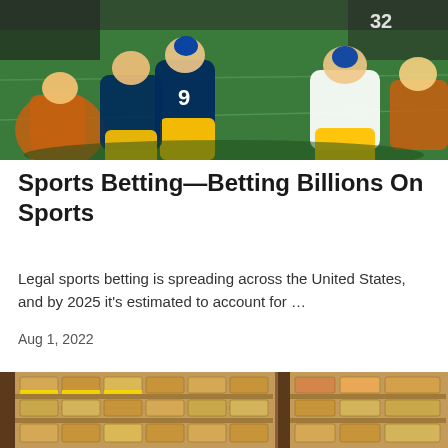[Figure (photo): NFL football game action shot showing players from two teams — one in blue/yellow (Los Angeles Rams) and one in black/orange (Cincinnati Bengals) — colliding on a green turf field.]
Sports Betting—Betting Billions On Sports
Legal sports betting is spreading across the United States, and by 2025 it's estimated to account for …
Aug 1, 2022
[Figure (photo): Interior of a cigar shop showing wooden shelves stocked with rows of cigar boxes and loose cigars in display trays, with yellow price tags visible.]